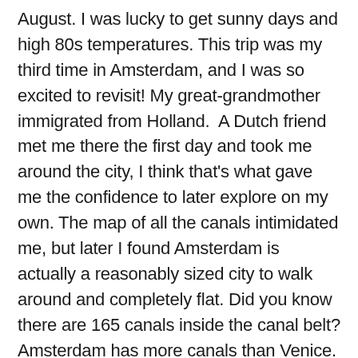August. I was lucky to get sunny days and high 80s temperatures. This trip was my third time in Amsterdam, and I was so excited to revisit! My great-grandmother immigrated from Holland.  A Dutch friend met me there the first day and took me around the city, I think that's what gave me the confidence to later explore on my own. The map of all the canals intimidated me, but later I found Amsterdam is actually a reasonably sized city to walk around and completely flat. Did you know there are 165 canals inside the canal belt? Amsterdam has more canals than Venice. On Sunday so many people were on little boats cruising the canal with their friends while enjoying drinks.
I took so many pictures of these cute gingerbread houses. Since most houses don't have air conditioning, in